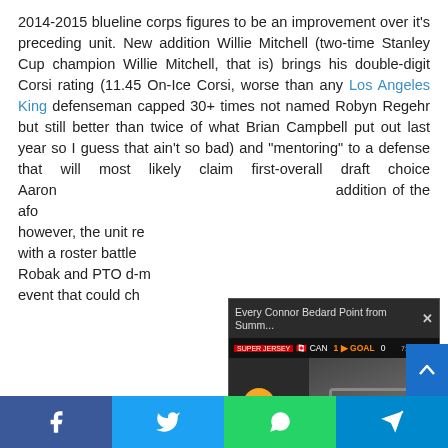2014-2015 blueline corps figures to be an improvement over it's preceding unit. New addition Willie Mitchell (two-time Stanley Cup champion Willie Mitchell, that is) brings his double-digit Corsi rating (11.45 On-Ice Corsi, worse than any Los Angeles King defenseman capped 30+ times not named Robyn Regehr but still better than twice of what Brian Campbell put out last year so I guess that ain't so bad) and "mentoring" to a defense that will most likely claim first-overall draft choice Aaron [Ekblad]. With the addition of the aforementioned, however, the unit remains unsettled with a roster battle [involving] Robak and PTO d-m[en]... event that could ch[ange]...
[Figure (screenshot): Video overlay showing 'Every Connor Bedard Point from Summ...' with a close button, scoreboard bar showing GOAL, mute button, and player face image]